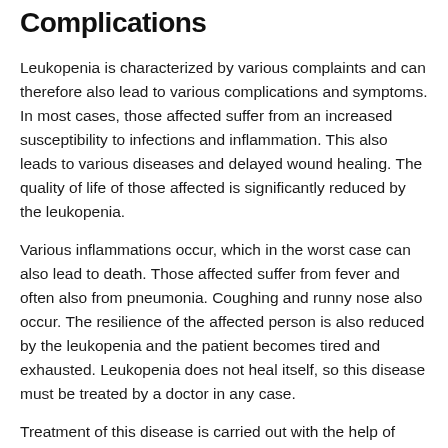Complications
Leukopenia is characterized by various complaints and can therefore also lead to various complications and symptoms. In most cases, those affected suffer from an increased susceptibility to infections and inflammation. This also leads to various diseases and delayed wound healing. The quality of life of those affected is significantly reduced by the leukopenia.
Various inflammations occur, which in the worst case can also lead to death. Those affected suffer from fever and often also from pneumonia. Coughing and runny nose also occur. The resilience of the affected person is also reduced by the leukopenia and the patient becomes tired and exhausted. Leukopenia does not heal itself, so this disease must be treated by a doctor in any case.
Treatment of this disease is carried out with the help of drugs and antibiotics. Special complications usually do not arise. Timely treatment also does not reduce the patient's life expectancy. Furthermore, the leukopenia can also occur again